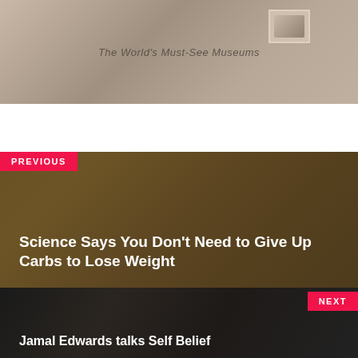[Figure (photo): A rolled or cylindrical object with a small inset photograph, overlaid with the text 'The World's Must-See Museums']
[Figure (photo): Background image of bread/bagels with sesame seeds, darkened overlay, labeled PREVIOUS with title text]
Science Says You Don’t Need to Give Up Carbs to Lose Weight
[Figure (photo): Black and white photo of a person in a white t-shirt against a graffiti background, labeled NEXT with title text]
Jamal Edwards talks Self Belief